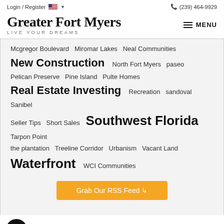Login / Register   (US flag)   (239) 464-9929
Greater Fort Myers
LIVE YOUR DREAMS
Mcgregor Boulevard   Miromar Lakes   Neal Communities   New Construction   North Fort Myers   paseo   Pelican Preserve   Pine Island   Pulte Homes   Real Estate Investing   Recreation   sandoval   Sanibel   Seller Tips   Short Sales   Southwest Florida   Tarpon Point   the plantation   Treeline Corridor   Urbanism   Vacant Land   Waterfront   WCI Communities
Grab Our RSS Feed
Search All Area Listings